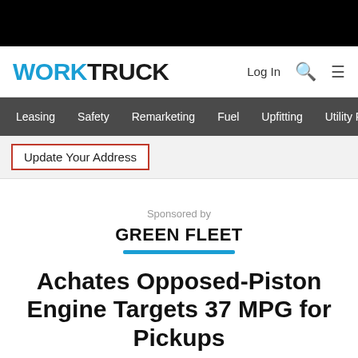WORKTRUCK
Log In
Leasing  Safety  Remarketing  Fuel  Upfitting  Utility F
Update Your Address
Sponsored by
GREEN FLEET
Achates Opposed-Piston Engine Targets 37 MPG for Pickups